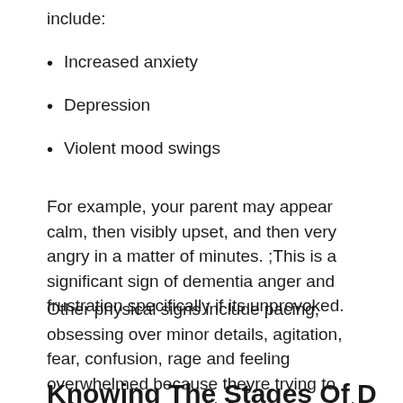include:
Increased anxiety
Depression
Violent mood swings
For example, your parent may appear calm, then visibly upset, and then very angry in a matter of minutes. ;This is a significant sign of dementia anger and frustration specifically if its unprovoked.
Other physical signs include pacing, obsessing over minor details, agitation, fear, confusion, rage and feeling overwhelmed because theyre trying to make sense of a world thats now confusing to them.
Knowing The Stages Of Dementia